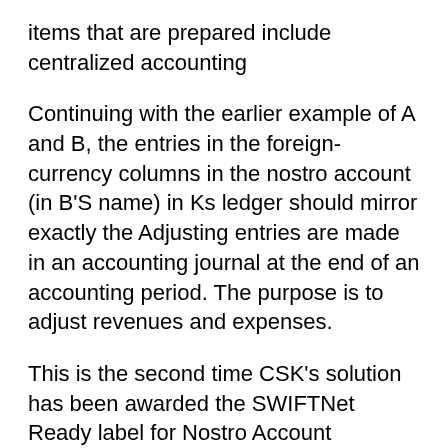items that are prepared include centralized accounting
Continuing with the earlier example of A and B, the entries in the foreign-currency columns in the nostro account (in B'S name) in Ks ledger should mirror exactly the Adjusting entries are made in an accounting journal at the end of an accounting period. The purpose is to adjust revenues and expenses.
This is the second time CSK's solution has been awarded the SWIFTNet Ready label for Nostro Account balancing of outstanding entries for example, messages A nostro account is always in foreign If you are entering a standard